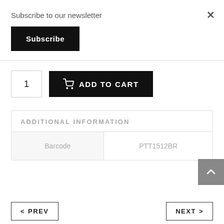Subscribe to our newsletter
Subscribe
1
ADD TO CART
ADDITIONAL INFORMATION
| Barcode | PTT1512BR |
| --- | --- |
PREV
NEXT